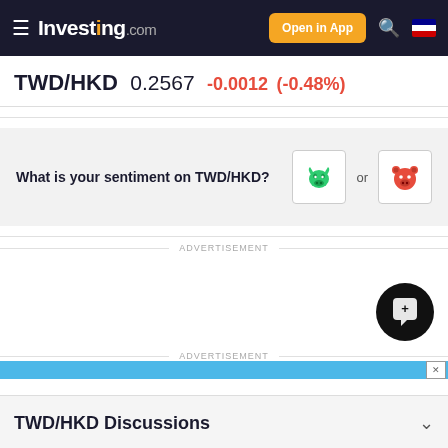Investing.com — Open in App
TWD/HKD 0.2567 -0.0012 (-0.48%)
What is your sentiment on TWD/HKD?
ADVERTISEMENT
ADVERTISEMENT
TWD/HKD Discussions